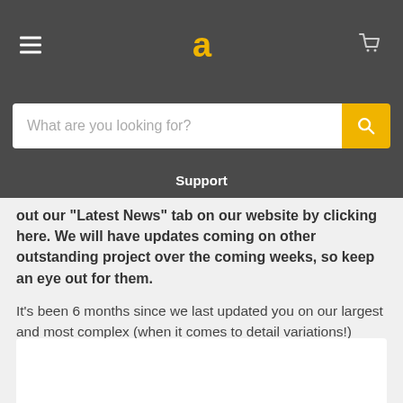[Figure (screenshot): Website header with hamburger menu icon, yellow 'a' logo, and cart icon on dark grey background]
[Figure (screenshot): Search bar with placeholder text 'What are you looking for?' and yellow search button, on dark grey background]
[Figure (screenshot): Support navigation tab on dark grey background]
out our "Latest News" tab on our website by clicking here. We will have updates coming on other outstanding project over the coming weeks, so keep an eye out for them.
It's been 6 months since we last updated you on our largest and most complex (when it comes to detail variations!) locomotive project to date. It is of course our hugely popular and exciting Class 37 in 4mm/OO scale!